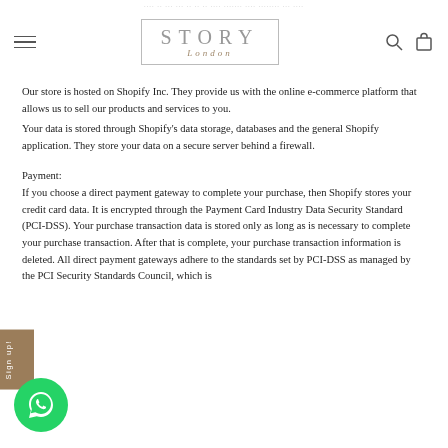STORY London
Our store is hosted on Shopify Inc. They provide us with the online e-commerce platform that allows us to sell our products and services to you.
Your data is stored through Shopify's data storage, databases and the general Shopify application. They store your data on a secure server behind a firewall.
Payment:
If you choose a direct payment gateway to complete your purchase, then Shopify stores your credit card data. It is encrypted through the Payment Card Industry Data Security Standard (PCI-DSS). Your purchase transaction data is stored only as long as is necessary to complete your purchase transaction. After that is complete, your purchase transaction information is deleted. All direct payment gateways adhere to the standards set by PCI-DSS as managed by the PCI Security Standards Council, which is